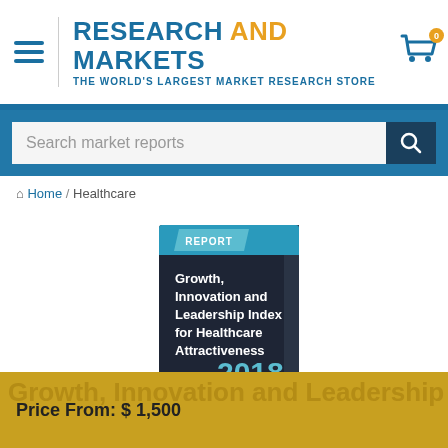RESEARCH AND MARKETS — THE WORLD'S LARGEST MARKET RESEARCH STORE
Search market reports
Home / Healthcare
[Figure (illustration): Book cover showing 'Growth, Innovation and Leadership Index for Healthcare Attractiveness', REPORT label, 59 pages, 2018]
Growth, Innovation and Leadership Index for Healthcare Attractiveness (GIL-H Index)
Price From: $ 1,500